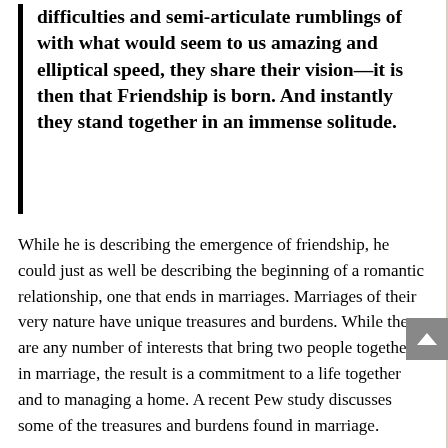difficulties and semi-articulate rumblings of with what would seem to us amazing and elliptical speed, they share their vision—it is then that Friendship is born. And instantly they stand together in an immense solitude.
While he is describing the emergence of friendship, he could just as well be describing the beginning of a romantic relationship, one that ends in marriages. Marriages of their very nature have unique treasures and burdens. While there are any number of interests that bring two people together in marriage, the result is a commitment to a life together and to managing a home. A recent Pew study discusses some of the treasures and burdens found in marriage.
In "Raising Kids and Running a Household: How Working Parents Share the Load," the Pew Research Center noted how couples with kids struggled to balance work